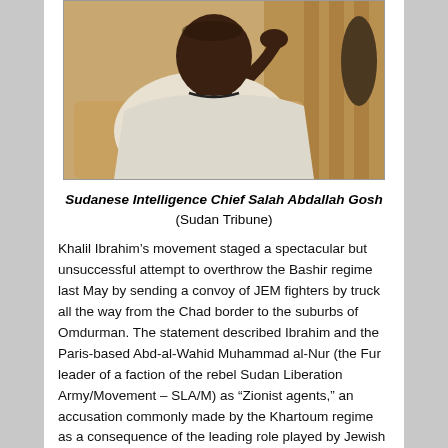[Figure (photo): Photo of Sudanese Intelligence Chief Salah Abdallah Gosh seated, wearing white clothing]
Sudanese Intelligence Chief Salah Abdallah Gosh
(Sudan Tribune)
Khalil Ibrahim’s movement staged a spectacular but unsuccessful attempt to overthrow the Bashir regime last May by sending a convoy of JEM fighters by truck all the way from the Chad border to the suburbs of Omdurman. The statement described Ibrahim and the Paris-based Abd-al-Wahid Muhammad al-Nur (the Fur leader of a faction of the rebel Sudan Liberation Army/Movement – SLA/M) as “Zionist agents,” an accusation commonly made by the Khartoum regime as a consequence of the leading role played by Jewish organizations in Darfur activism. The coalition announced the formation of joint brigades under a unified command to carry out jihad and